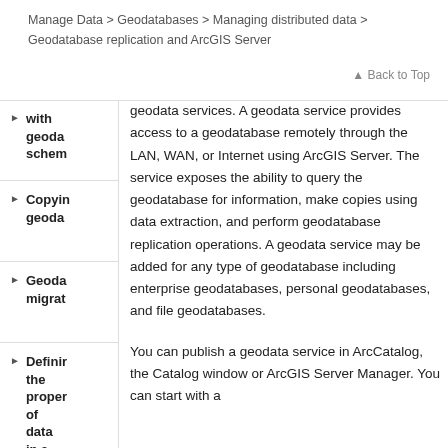Manage Data > Geodatabases > Managing distributed data > Geodatabase replication and ArcGIS Server
Back to Top
with geodata schem
Copying geoda
Geoda migrat
Defining the properties of data in a
geodata services. A geodata service provides access to a geodatabase remotely through the LAN, WAN, or Internet using ArcGIS Server. The service exposes the ability to query the geodatabase for information, make copies using data extraction, and perform geodatabase replication operations. A geodata service may be added for any type of geodatabase including enterprise geodatabases, personal geodatabases, and file geodatabases.
You can publish a geodata service in ArcCatalog, the Catalog window or ArcGIS Server Manager. You can start with a